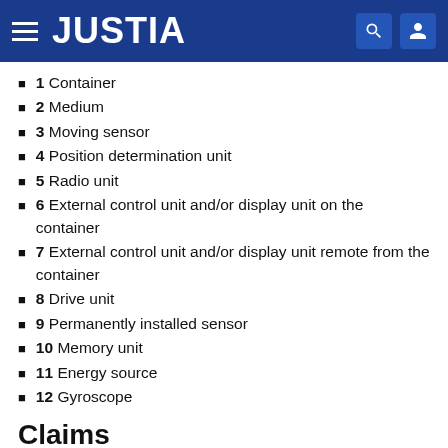JUSTIA
1 Container
2 Medium
3 Moving sensor
4 Position determination unit
5 Radio unit
6 External control unit and/or display unit on the container
7 External control unit and/or display unit remote from the container
8 Drive unit
9 Permanently installed sensor
10 Memory unit
11 Energy source
12 Gyroscope
Claims